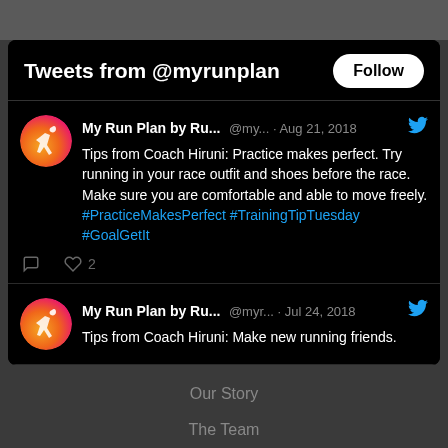Tweets from @myrunplan
My Run Plan by Ru... @my... · Aug 21, 2018 — Tips from Coach Hiruni: Practice makes perfect. Try running in your race outfit and shoes before the race. Make sure you are comfortable and able to move freely. #PracticeMakesPerfect #TrainingTipTuesday #GoalGetIt
My Run Plan by Ru... @myr... · Jul 24, 2018 — Tips from Coach Hiruni: Make new running friends.
Our Story
The Team